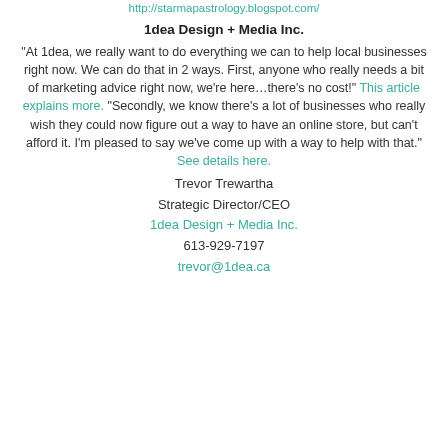http://starmapastrology.blogspot.com/
1dea Design + Media Inc.
“At 1dea, we really want to do everything we can to help local businesses right now. We can do that in 2 ways. First, anyone who really needs a bit of marketing advice right now, we’re here…there’s no cost!” This article explains more. “Secondly, we know there’s a lot of businesses who really wish they could now figure out a way to have an online store, but can’t afford it. I’m pleased to say we’ve come up with a way to help with that.” See details here.
Trevor Trewartha
Strategic Director/CEO
1dea Design + Media Inc.
613-929-7197
trevor@1dea.ca